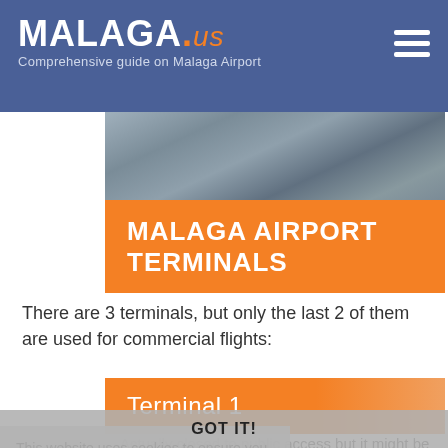MALAGA.us – Comprehensive guide on Malaga Airport
[Figure (photo): Aerial view of Malaga Airport tarmac]
MALAGA AIRPORT TERMINALS
There are 3 terminals, but only the last 2 of them are used for commercial flights:
Terminal 1
This website uses cookies to ensure you get the best experience on our website. Learn more
Actually closed to public access but it might be used occasionally if passenger traffic increases.
Terminal 1 has no gates, just arrivals area. It is currently being used as arrival for private flights and general aviation but not for
GOT IT!